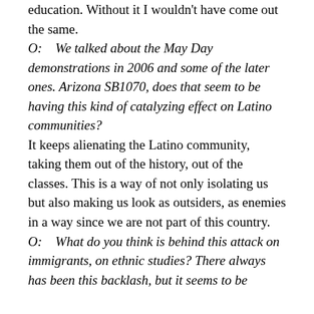education. Without it I wouldn't have come out the same.
O:    We talked about the May Day demonstrations in 2006 and some of the later ones. Arizona SB1070, does that seem to be having this kind of catalyzing effect on Latino communities?
It keeps alienating the Latino community, taking them out of the history, out of the classes. This is a way of not only isolating us but also making us look as outsiders, as enemies in a way since we are not part of this country.
O:    What do you think is behind this attack on immigrants, on ethnic studies? There always has been this backlash, but it seems to be